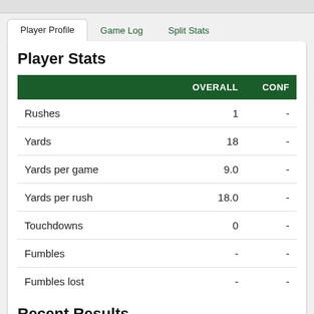Player Profile | Game Log | Split Stats
Player Stats
|  | OVERALL | CONF |
| --- | --- | --- |
| Rushes | 1 | - |
| Yards | 18 | - |
| Yards per game | 9.0 | - |
| Yards per rush | 18.0 | - |
| Touchdowns | 0 | - |
| Fumbles | - | - |
| Fumbles lost | - | - |
Recent Results